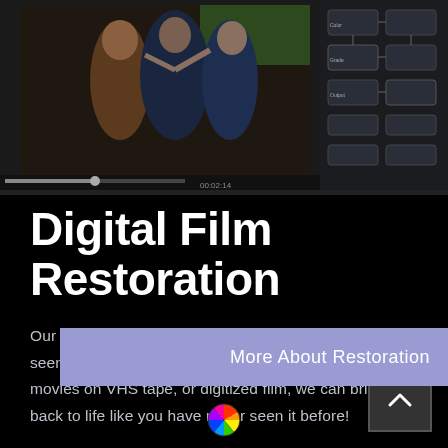[Figure (screenshot): Split screenshot: left side shows historical film footage of women in period costumes, right side shows a dark video editing software interface with node graph]
Digital Film Restoration
Our Digital Film Restoration service needs to be seen to be believed. Whether you have old home movies on VHS tape, or digitized film, we can bring it back to life like you have never seen it before!
[Figure (other): Scroll-to-top button with upward chevron arrow on dark grey background]
More About Restoration
[Figure (logo): Colorful circular logo resembling a color wheel with rainbow segments]